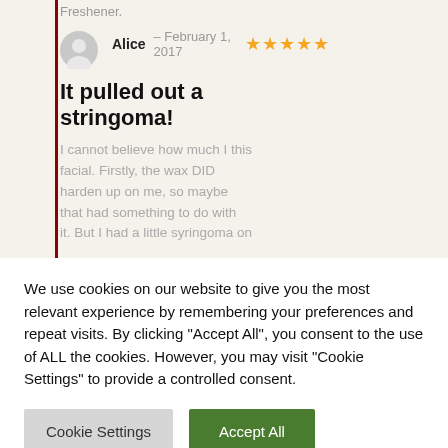Freshener.
Alice – February 1, 2017 ★★★★★
It pulled out a stringoma!
I cannot believe how much I this facial. Firstly, the wax DID harden up on me, so maybe that had something to do with it. But I had a little syringoma on
We use cookies on our website to give you the most relevant experience by remembering your preferences and repeat visits. By clicking "Accept All", you consent to the use of ALL the cookies. However, you may visit "Cookie Settings" to provide a controlled consent.
Cookie Settings
Accept All